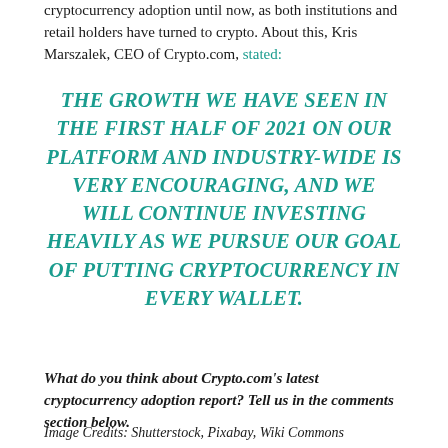cryptocurrency adoption until now, as both institutions and retail holders have turned to crypto. About this, Kris Marszalek, CEO of Crypto.com, stated:
THE GROWTH WE HAVE SEEN IN THE FIRST HALF OF 2021 ON OUR PLATFORM AND INDUSTRY-WIDE IS VERY ENCOURAGING, AND WE WILL CONTINUE INVESTING HEAVILY AS WE PURSUE OUR GOAL OF PUTTING CRYPTOCURRENCY IN EVERY WALLET.
What do you think about Crypto.com's latest cryptocurrency adoption report? Tell us in the comments section below.
Image Credits: Shutterstock, Pixabay, Wiki Commons